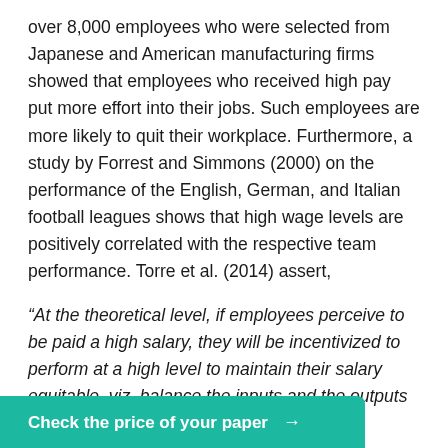over 8,000 employees who were selected from Japanese and American manufacturing firms showed that employees who received high pay put more effort into their jobs. Such employees are more likely to quit their workplace. Furthermore, a study by Forrest and Simmons (2000) on the performance of the English, German, and Italian football leagues shows that high wage levels are positively correlated with the respective team performance. Torre et al. (2014) assert,
“At the theoretical level, if employees perceive to be paid a high salary, they will be incentivized to perform at a high level to maintain their salary equitable, viz. balance the inputs and the outputs and to reduce the … because of poor
Check the price of your paper →